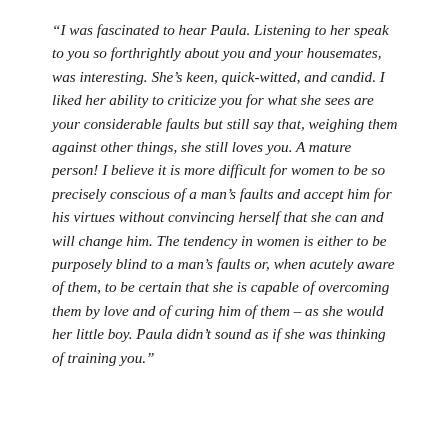“I was fascinated to hear Paula. Listening to her speak to you so forthrightly about you and your housemates, was interesting. She’s keen, quick-witted, and candid. I liked her ability to criticize you for what she sees are your considerable faults but still say that, weighing them against other things, she still loves you. A mature person! I believe it is more difficult for women to be so precisely conscious of a man’s faults and accept him for his virtues without convincing herself that she can and will change him. The tendency in women is either to be purposely blind to a man’s faults or, when acutely aware of them, to be certain that she is capable of overcoming them by love and of curing him of them – as she would her little boy. Paula didn’t sound as if she was thinking of training you.”